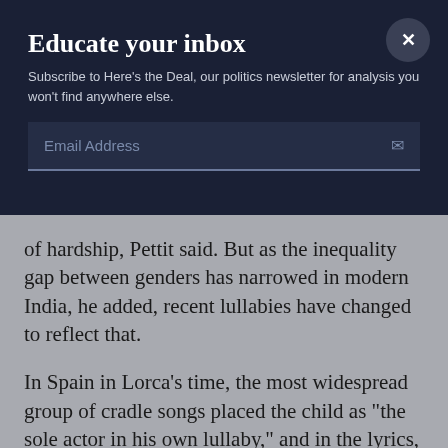Educate your inbox
Subscribe to Here's the Deal, our politics newsletter for analysis you won't find anywhere else.
Email Address
of hardship, Pettit said. But as the inequality gap between genders has narrowed in modern India, he added, recent lullabies have changed to reflect that.
In Spain in Lorca's time, the most widespread group of cradle songs placed the child as "the sole actor in his own lullaby," and in the lyrics, he was poor or his mother was missing or was not his mother. In response to such songs,